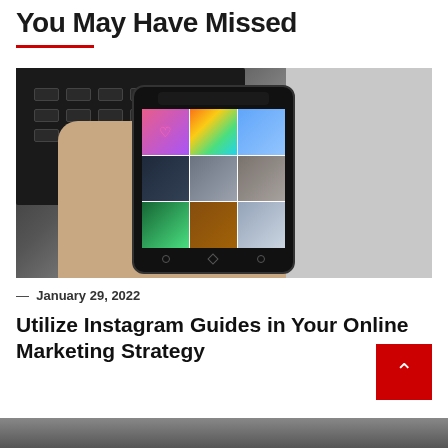You May Have Missed
[Figure (photo): Hand holding a smartphone displaying Instagram app with a grid of photos, keyboard in background]
— January 29, 2022
Utilize Instagram Guides in Your Online Marketing Strategy
[Figure (photo): Bottom strip of another article image, partially visible]